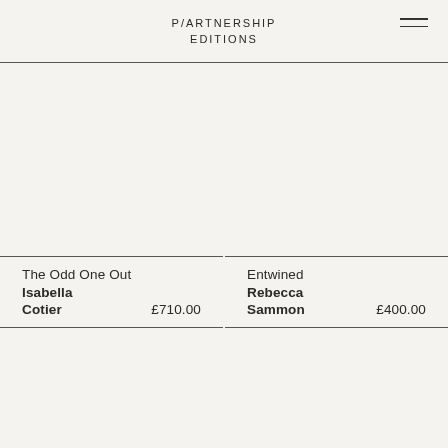P/ARTNERSHIP EDITIONS
The Odd One Out
Isabella Cotier
£710.00
Entwined
Rebecca Sammon
£400.00